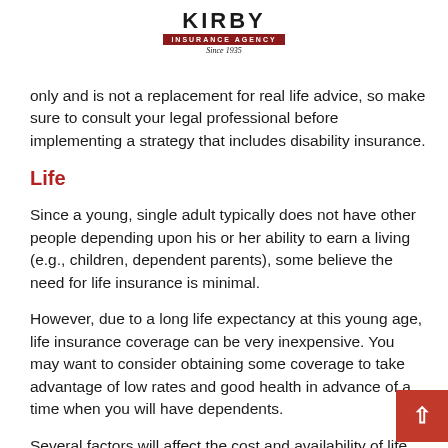KIRBY INSURANCE AGENCY Since 1935
only and is not a replacement for real life advice, so make sure to consult your legal professional before implementing a strategy that includes disability insurance.
Life
Since a young, single adult typically does not have other people depending upon his or her ability to earn a living (e.g., children, dependent parents), some believe the need for life insurance is minimal.
However, due to a long life expectancy at this young age, life insurance coverage can be very inexpensive. You may want to consider obtaining some coverage to take advantage of low rates and good health in advance of a time when you will have dependents.
Several factors will affect the cost and availability of life